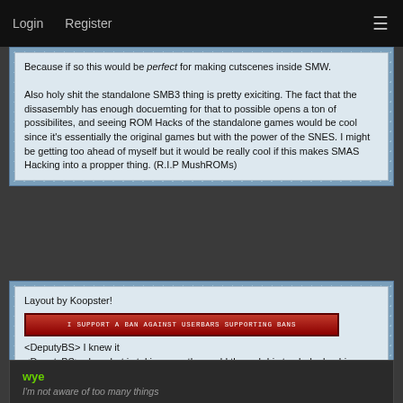Login   Register
Because if so this would be perfect for making cutscenes inside SMW.

Also holy shit the standalone SMB3 thing is pretty exiciting. The fact that the dissasembly has enough docuemting for that to possible opens a ton of possibilites, and seeing ROM Hacks of the standalone games would be cool since it's essentially the original games but with the power of the SNES. I might be getting too ahead of myself but it would be really cool if this makes SMAS Hacking into a propper thing. (R.I.P MushROMs)
Layout by Koopster!
[Figure (other): Red userbar reading: I SUPPORT A BAN AGAINST USERBARS SUPPORTING BANS]
<DeputyBS> I knew it
<DeputyBS> alcarobot is taking over the world through his truck dealership franchise
wye
I'm not aware of too many things